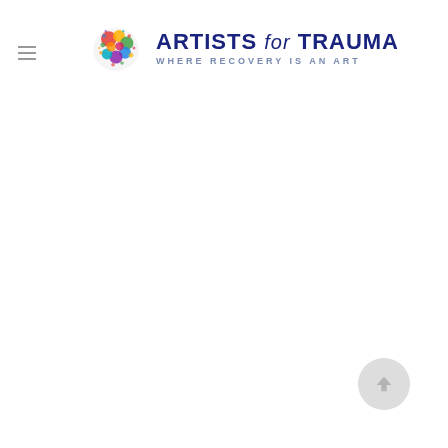[Figure (logo): Artists for Trauma logo: colorful paint-splash circle icon on the left, with 'ARTISTS for TRAUMA' in bold navy blue text and 'WHERE RECOVERY IS AN ART' as a subtitle in spaced gray-blue letters]